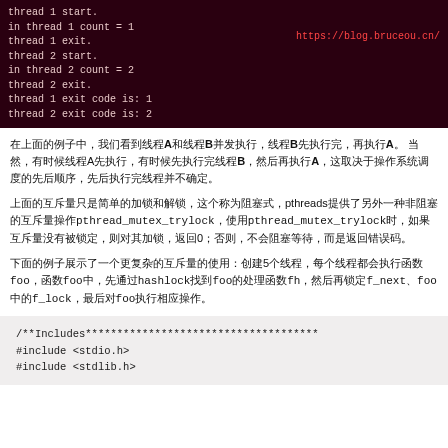[Figure (screenshot): Terminal output showing thread execution with URL https://blog.bruceou.cn/ in red]
在上面的例子中，我们看到线程A和线程B并发执行，线程B先执行完，再执行A。 当然，有时候线程A先执行，有时候线程B先执行完，然后再执行A，这取决于操作系统调度的先后顺序。
上面的互斥量只是简单的加锁和解锁，这个称为阻塞式，pthreads提供了另外一种非阻塞的互斥量操作pthread_mutex_trylock，使用pthread_mutex_trylock时，如果互斥量没有被锁定，则对其加锁，返回0；否则，不会阻塞等待，而是返回错误码。
下面的例子展示了一个更复杂的互斥量的使用：创建5个线程，每个线程都会执行函数foo，函数foo中，先通过hashlock找到foo的处理函数fh，然后再锁定f_next、foo中的f_lock，最后对foo执行相应操作。
[Figure (screenshot): Code block showing C source code beginning with /**Includes***** comment, #include <stdio.h>, and #include <stdlib.h>]